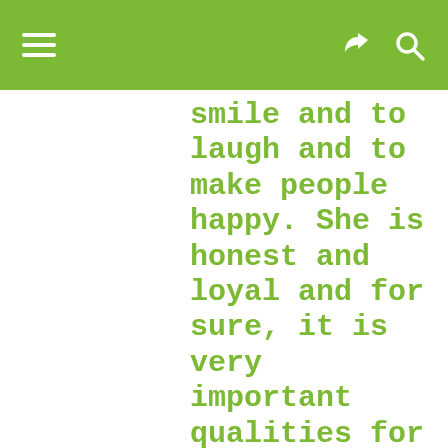smile and to laugh and to make people happy. She is honest and loyal and for sure, it is very important qualities for every person. Communication means much for her, it is a big part of her life. She never would loose her chance for the happiness. For Estonian woman the family is very important and it stands on the first place always.